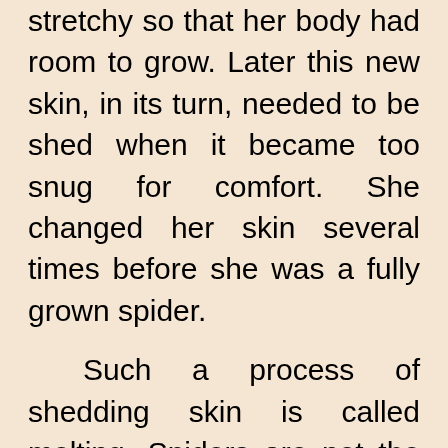stretchy so that her body had room to grow. Later this new skin, in its turn, needed to be shed when it became too snug for comfort. She changed her skin several times before she was a fully grown spider.
Such a process of shedding skin is called molting. Spiders are not the only animals that molt this way as they grow. Other backbone-less animals with